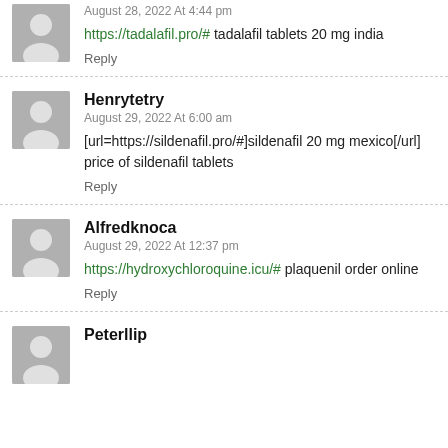August 28, 2022 At 4:44 pm
https://tadalafil.pro/# tadalafil tablets 20 mg india
Reply
Henrytetry
August 29, 2022 At 6:00 am
[url=https://sildenafil.pro/#]sildenafil 20 mg mexico[/url] price of sildenafil tablets
Reply
Alfredknoca
August 29, 2022 At 12:37 pm
https://hydroxychloroquine.icu/# plaquenil order online
Reply
Peterllip